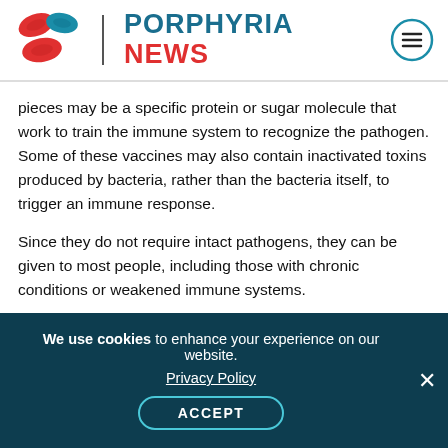PORPHYRIA NEWS
pieces may be a specific protein or sugar molecule that work to train the immune system to recognize the pathogen. Some of these vaccines may also contain inactivated toxins produced by bacteria, rather than the bacteria itself, to trigger an immune response.
Since they do not require intact pathogens, they can be given to most people, including those with chronic conditions or weakened immune systems.
The immune response they generate is typically weaker than the whole-pathogen vaccines, and
We use cookies to enhance your experience on our website. Privacy Policy ACCEPT